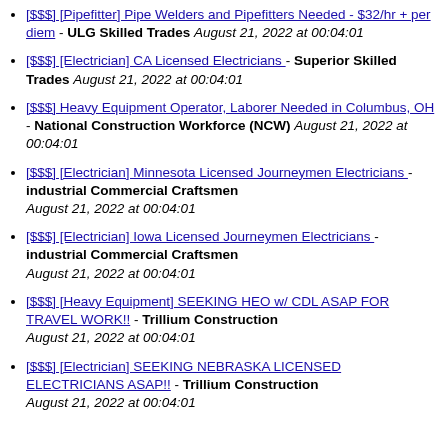[$$$] [Pipefitter] Pipe Welders and Pipefitters Needed - $32/hr + per diem - ULG Skilled Trades August 21, 2022 at 00:04:01
[$$$] [Electrician] CA Licensed Electricians - Superior Skilled Trades August 21, 2022 at 00:04:01
[$$$] Heavy Equipment Operator, Laborer Needed in Columbus, OH - National Construction Workforce (NCW) August 21, 2022 at 00:04:01
[$$$] [Electrician] Minnesota Licensed Journeymen Electricians - industrial Commercial Craftsmen August 21, 2022 at 00:04:01
[$$$] [Electrician] Iowa Licensed Journeymen Electricians - industrial Commercial Craftsmen August 21, 2022 at 00:04:01
[$$$] [Heavy Equipment] SEEKING HEO w/ CDL ASAP FOR TRAVEL WORK!! - Trillium Construction August 21, 2022 at 00:04:01
[$$$] [Electrician] SEEKING NEBRASKA LICENSED ELECTRICIANS ASAP!! - Trillium Construction August 21, 2022 at 00:04:01